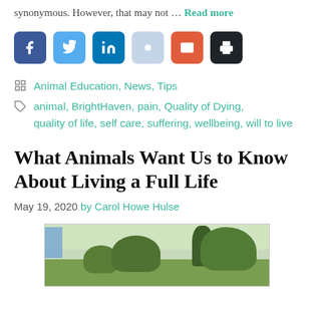synonymous. However, that may not … Read more
[Figure (other): Social media sharing buttons: Facebook, Twitter, LinkedIn, Share, Email, Print]
Animal Education, News, Tips
animal, BrightHaven, pain, Quality of Dying, quality of life, self care, suffering, wellbeing, will to live
What Animals Want Us to Know About Living a Full Life
May 19, 2020 by Carol Howe Hulse
[Figure (photo): Outdoor garden scene with shrubs, grass, trees and a building in the background]